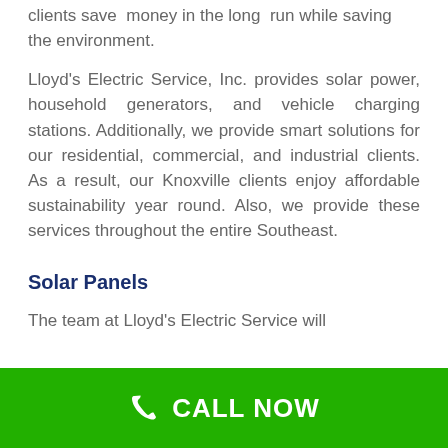clients save money in the long run while saving the environment.
Lloyd's Electric Service, Inc. provides solar power, household generators, and vehicle charging stations. Additionally, we provide smart solutions for our residential, commercial, and industrial clients. As a result, our Knoxville clients enjoy affordable sustainability year round. Also, we provide these services throughout the entire Southeast.
Solar Panels
The team at Lloyd's Electric Service will
CALL NOW